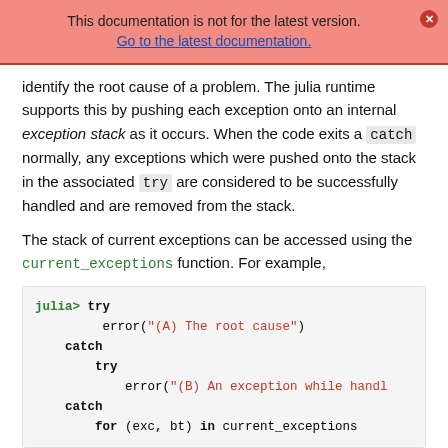This documentation is not for the latest version. Go to the latest documentation.
identify the root cause of a problem. The julia runtime supports this by pushing each exception onto an internal exception stack as it occurs. When the code exits a catch normally, any exceptions which were pushed onto the stack in the associated try are considered to be successfully handled and are removed from the stack.
The stack of current exceptions can be accessed using the current_exceptions function. For example,
[Figure (screenshot): Julia REPL code block showing a try/catch/try/catch/for structure with error calls containing string messages '(A) The root cause' and '(B) An exception while handl' and 'for (exc, bt) in current_exceptions']